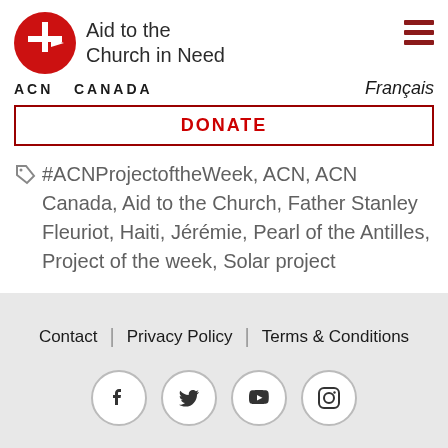[Figure (logo): Aid to the Church in Need Canada logo — red circle with a white cross and arrow symbol, with text 'Aid to the Church in Need' and 'ACN CANADA']
Français
DONATE
#ACNProjectoftheWeek, ACN, ACN Canada, Aid to the Church, Father Stanley Fleuriot, Haiti, Jérémie, Pearl of the Antilles, Project of the week, Solar project
‹  1  2  3  4
Contact | Privacy Policy | Terms & Conditions